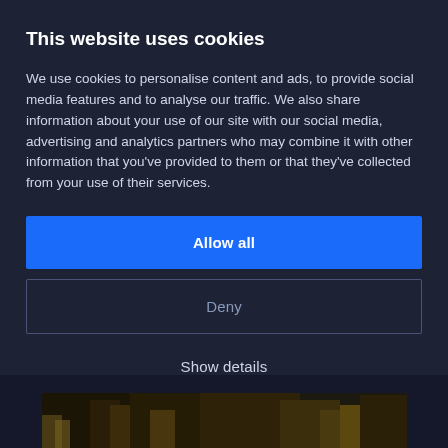This website uses cookies
We use cookies to personalise content and ads, to provide social media features and to analyse our traffic. We also share information about your use of our site with our social media, advertising and analytics partners who may combine it with other information that you've provided to them or that they've collected from your use of their services.
Allow all
Deny
Show details
[Figure (photo): Partial view of a dark-toned image visible at the bottom of the page, showing figures in low light with warm golden/brown tones]